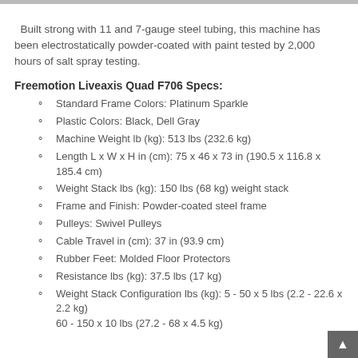Built strong with 11 and 7-gauge steel tubing, this machine has been electrostatically powder-coated with paint tested by 2,000 hours of salt spray testing.
Freemotion Liveaxis Quad F706 Specs:
Standard Frame Colors: Platinum Sparkle
Plastic Colors: Black, Dell Gray
Machine Weight lb (kg): 513 lbs (232.6 kg)
Length L x W x H in (cm): 75 x 46 x 73 in (190.5 x 116.8 x 185.4 cm)
Weight Stack lbs (kg): 150 lbs (68 kg) weight stack
Frame and Finish: Powder-coated steel frame
Pulleys: Swivel Pulleys
Cable Travel in (cm): 37 in (93.9 cm)
Rubber Feet: Molded Floor Protectors
Resistance lbs (kg): 37.5 lbs (17 kg)
Weight Stack Configuration lbs (kg): 5 - 50 x 5 lbs (2.2 - 22.6 x 2.2 kg)
60 - 150 x 10 lbs (27.2 - 68 x 4.5 kg)